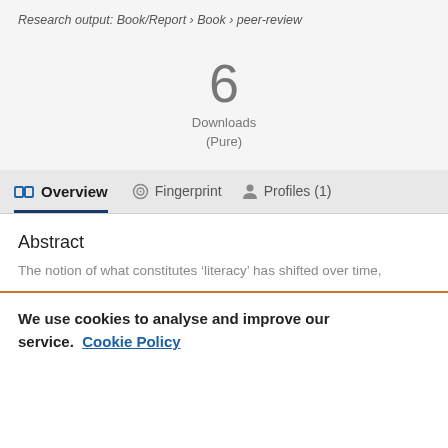Research output: Book/Report › Book › peer-review
6
Downloads
(Pure)
Overview   Fingerprint   Profiles (1)
Abstract
The notion of what constitutes ‘literacy’ has shifted over time,
We use cookies to analyse and improve our service. Cookie Policy